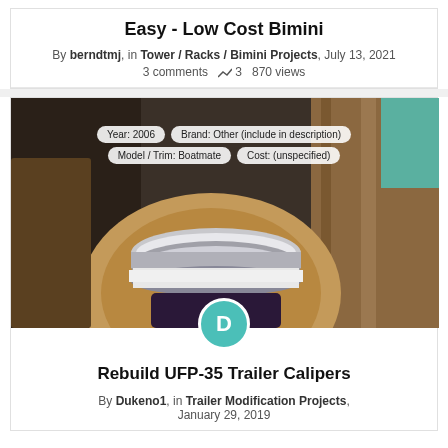Easy - Low Cost Bimini
By berndtmj, in Tower / Racks / Bimini Projects, July 13, 2021
3 comments  3  870 views
[Figure (photo): Photo of a mechanical component (caliper or similar round metal piece) being worked on a wooden surface. Overlay tags show: Year: 2006, Brand: Other (include in description), Model / Trim: Boatmate, Cost: (unspecified). A teal avatar circle with letter D appears at the bottom center.]
Rebuild UFP-35 Trailer Calipers
By Dukeno1, in Trailer Modification Projects, January 29, 2019